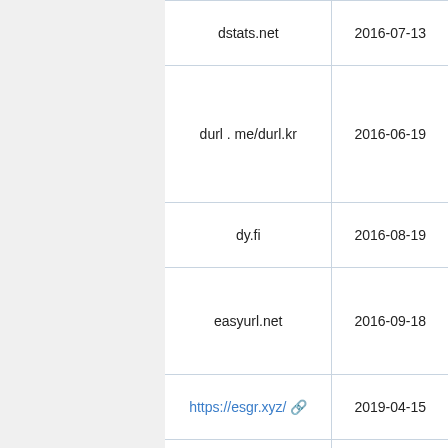| Domain | Date |
| --- | --- |
| dstats.net | 2016-07-13 |
| durl . me/durl.kr | 2016-06-19 |
| dy.fi | 2016-08-19 |
| easyurl.net | 2016-09-18 |
| https://esgr.xyz/ | 2019-04-15 |
| fanpa.ge | 2016-06-19 |